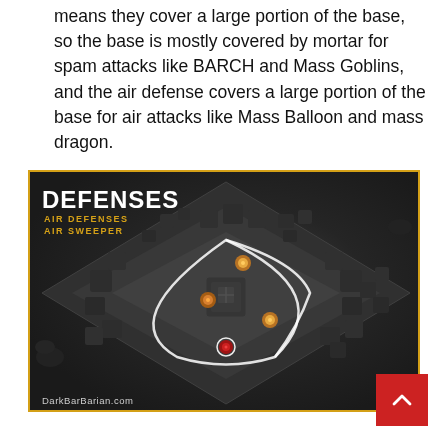means they cover a large portion of the base, so the base is mostly covered by mortar for spam attacks like BARCH and Mass Goblins, and the air defense covers a large portion of the base for air attacks like Mass Balloon and mass dragon.
[Figure (screenshot): Game screenshot from DarkBarBarian.com showing a Clash of Clans base layout in grayscale. Overlay text reads 'DEFENSES' in white bold, with 'AIR DEFENSES' and 'AIR SWEEPER' in yellow below. A white diamond/arc shape outlines the air defense coverage area over the base. Several colored game units/buildings are highlighted within the base. The image is framed with a gold/yellow border.]